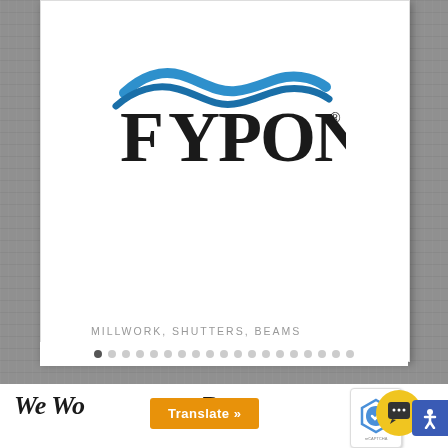[Figure (logo): Fypon brand logo with blue wave swoosh and black bold serif text reading FYPON with registered trademark symbol]
MILLWORK, SHUTTERS, BEAMS
We Work with the Best Contractors...